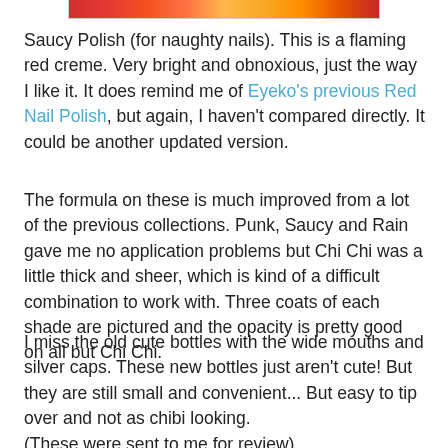[Figure (photo): Partial bottom edge of a photo showing nail polish bottles with red, yellow, and orange colors on a light background.]
Saucy Polish (for naughty nails). This is a flaming red creme. Very bright and obnoxious, just the way I like it. It does remind me of Eyeko's previous Red Nail Polish, but again, I haven't compared directly. It could be another updated version.
The formula on these is much improved from a lot of the previous collections. Punk, Saucy and Rain gave me no application problems but Chi Chi was a little thick and sheer, which is kind of a difficult combination to work with. Three coats of each shade are pictured and the opacity is pretty good on all but Chi Chi.
I miss the old cute bottles with the wide mouths and silver caps. These new bottles just aren't cute! But they are still small and convenient... But easy to tip over and not as chibi looking.
(These were sent to me for review)